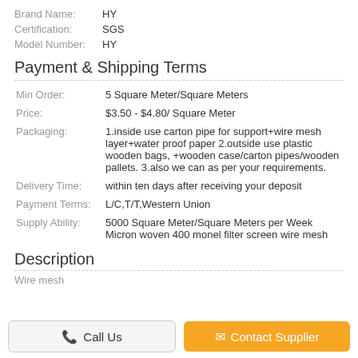Brand Name: HY
Certification: SGS
Model Number: HY
Payment & Shipping Terms
| Min Order: | 5 Square Meter/Square Meters |
| Price: | $3.50 - $4.80/ Square Meter |
| Packaging: | 1.inside use carton pipe for support+wire mesh layer+water proof paper 2.outside use plastic wooden bags, +wooden case/carton pipes/wooden pallets. 3.also we can as per your requirements. |
| Delivery Time: | within ten days after receiving your deposit |
| Payment Terms: | L/C,T/T,Western Union |
| Supply Ability: | 5000 Square Meter/Square Meters per Week Micron woven 400 monel filter screen wire mesh |
Description
Wire mesh